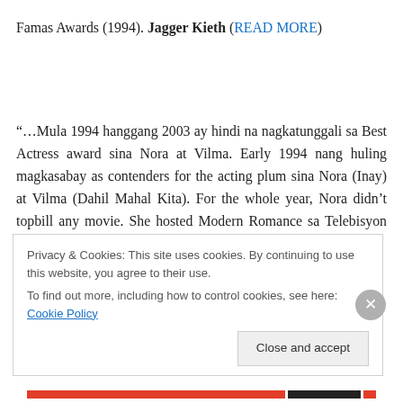Famas Awards (1994). Jagger Kieth (READ MORE)
“…Mula 1994 hanggang 2003 ay hindi na nagkatunggali sa Best Actress award sina Nora at Vilma. Early 1994 nang huling magkasabay as contenders for the acting plum sina Nora (Inay) at Vilma (Dahil Mahal Kita). For the whole year, Nora didn’t topbill any movie. She hosted Modern Romance sa Telebisyon on GMA 7 and the
Privacy & Cookies: This site uses cookies. By continuing to use this website, you agree to their use.
To find out more, including how to control cookies, see here: Cookie Policy
[Close and accept]